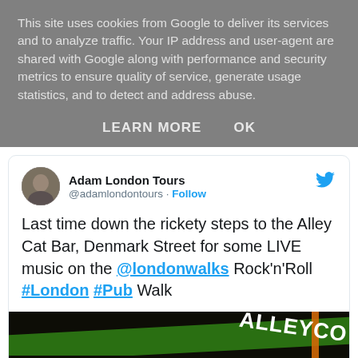This site uses cookies from Google to deliver its services and to analyze traffic. Your IP address and user-agent are shared with Google along with performance and security metrics to ensure quality of service, generate usage statistics, and to detect and address abuse.
LEARN MORE   OK
Adam London Tours @adamlondontours · Follow
Last time down the rickety steps to the Alley Cat Bar, Denmark Street for some LIVE music on the @londonwalks Rock'n'Roll #London #Pub Walk
[Figure (photo): Photo of a sign reading DOWN with Alley Cat bar signage visible, dark green and black pub exterior]